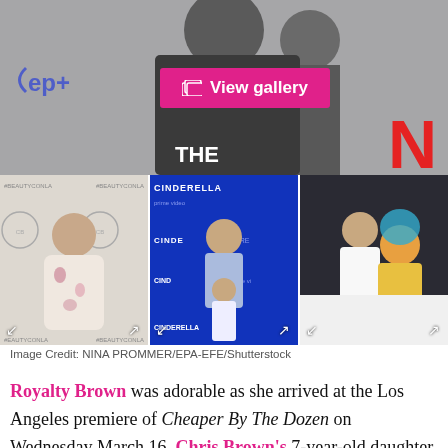[Figure (photo): Top banner photo showing people at a premiere event with Disney+ logo on left, a pink 'View gallery' button overlay, and red letter N on right]
[Figure (photo): Three thumbnail photos side by side: (1) young girl in floral dress at Beautycon LA, (2) woman and child at Cinderella prime video premiere, (3) girl with man at an event]
Image Credit: NINA PROMMER/EPA-EFE/Shutterstock
Royalty Brown was adorable as she arrived at the Los Angeles premiere of Cheaper By The Dozen on Wednesday March 16. Chris Brown's 7-year-old daughter sported a cool, all-denim look for the movie's